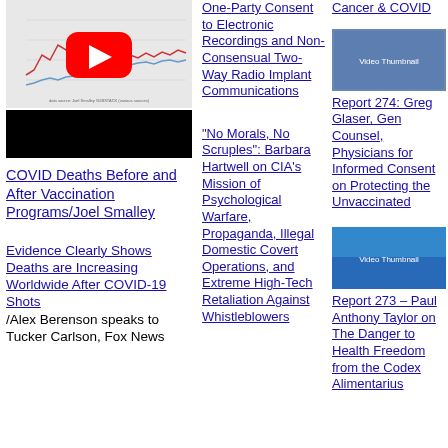[Figure (screenshot): Line chart showing COVID deaths before and after vaccination programs, with YouTube play button overlay. Chart has blue and red lines showing death rates over time with dates on x-axis.]
[Figure (photo): Black bar / redacted/blurred video thumbnail.]
COVID Deaths Before and After Vaccination Programs/Joel Smalley
Evidence Clearly Shows Deaths are Increasing Worldwide After COVID-19 Shots/Alex Berenson speaks to Tucker Carlson, Fox News
One-Party Consent to Electronic Recordings and Non-Consensual Two-Way Radio Implant Communications
“No Morals, No Scruples”: Barbara Hartwell on CIA’s Mission of Psychological Warfare, Propaganda, Illegal Domestic Covert Operations, and Extreme High-Tech Retaliation Against Whistleblowers
[Figure (screenshot): Thumbnail image of a video about Cancer & COVID with people on screen.]
Report 274: Greg Glaser, Gen Counsel, Physicians for Informed Consent on Protecting the Unvaccinated
[Figure (screenshot): Thumbnail image of a video related to Paul Anthony Taylor report.]
Report 273 – Paul Anthony Taylor on The Danger to Health Freedom from the Codex Alimentarius